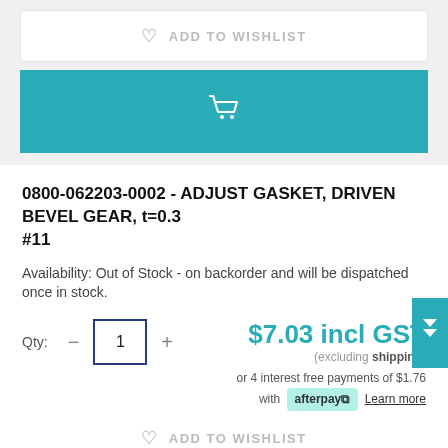ADD TO WISHLIST
[Figure (other): Teal add to cart button with shopping cart icon]
0800-062203-0002 - ADJUST GASKET, DRIVEN BEVEL GEAR, t=0.3 #11
Availability: Out of Stock - on backorder and will be dispatched once in stock.
Qty: 1  $7.03 incl GST (excluding shipping)
or 4 interest free payments of $1.76 with Afterpay Learn more
ADD TO WISHLIST